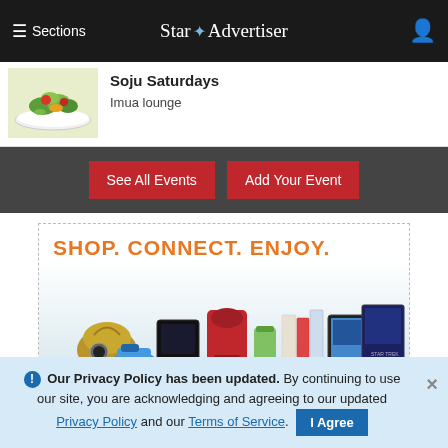≡ Sections  Star ✦ Advertiser  (user icon)
Soju Saturdays
Imua lounge
See All Events  Add Your Event
[Figure (advertisement): SHOP. CONNECT. ENJOY. advertisement from Amazon showing consumer products including handbag, game console, stand mixer, tablet, books, movie and drink. Text reads 'All from Earth's']
ⓘ Our Privacy Policy has been updated. By continuing to use our site, you are acknowledging and agreeing to our updated Privacy Policy and our Terms of Service. I Agree